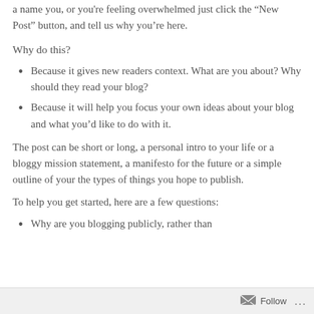a name you, or you're feeling overwhelmed just click the “New Post” button, and tell us why you’re here.
Why do this?
Because it gives new readers context. What are you about? Why should they read your blog?
Because it will help you focus your own ideas about your blog and what you’d like to do with it.
The post can be short or long, a personal intro to your life or a bloggy mission statement, a manifesto for the future or a simple outline of your the types of things you hope to publish.
To help you get started, here are a few questions:
Why are you blogging publicly, rather than
Follow •••